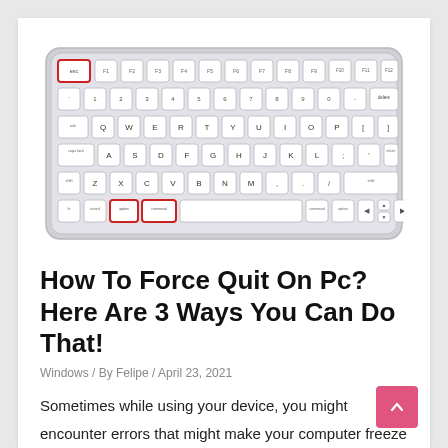[Figure (screenshot): Apple Magic Keyboard image showing keys highlighted in red: Escape key (top-left), Option key and Command key (bottom-left area). The keyboard is white/silver with light gray keys on a light background.]
How To Force Quit On Pc? Here Are 3 Ways You Can Do That!
Windows / By Felipe / April 23, 2021
Sometimes while using your device, you might encounter errors that might make your computer freeze and make the applications unresponsive on your